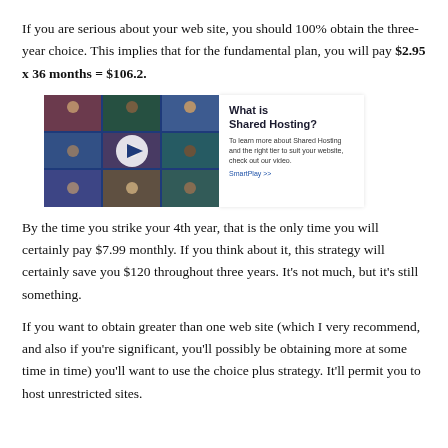If you are serious about your web site, you should 100% obtain the three-year choice. This implies that for the fundamental plan, you will pay $2.95 x 36 months = $106.2.
[Figure (screenshot): Video thumbnail showing a grid of diverse people on a blue background with a play button, alongside a panel reading 'What is Shared Hosting?' with description text and a link.]
By the time you strike your 4th year, that is the only time you will certainly pay $7.99 monthly. If you think about it, this strategy will certainly save you $120 throughout three years. It's not much, but it's still something.
If you want to obtain greater than one web site (which I very recommend, and also if you're significant, you'll possibly be obtaining more at some time in time) you'll want to use the choice plus strategy. It'll permit you to host unrestricted sites.